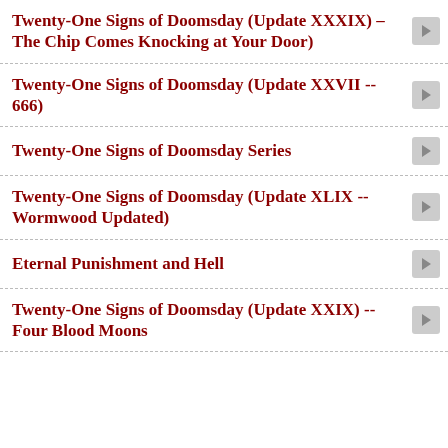Twenty-One Signs of Doomsday (Update XXXIX) – The Chip Comes Knocking at Your Door)
Twenty-One Signs of Doomsday (Update XXVII -- 666)
Twenty-One Signs of Doomsday Series
Twenty-One Signs of Doomsday (Update XLIX -- Wormwood Updated)
Eternal Punishment and Hell
Twenty-One Signs of Doomsday (Update XXIX) -- Four Blood Moons